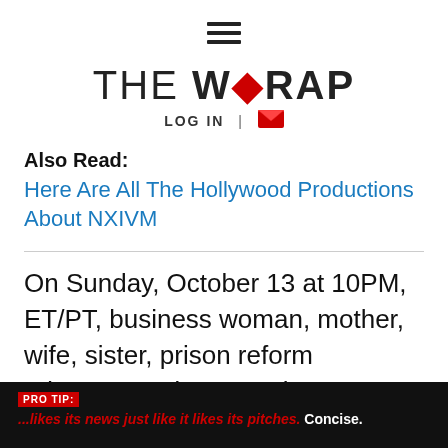[Figure (illustration): Hamburger menu icon (three horizontal lines)]
[Figure (logo): The Wrap logo with 'THE WRAP' text and red dot accent, LOGIN text and email icon below]
Also Read:
Here Are All The Hollywood Productions About NXIVM
On Sunday, October 13 at 10PM, ET/PT, business woman, mother, wife, sister, prison reform advocate and soon-to-be attorney Kim Kardashian West sits down for “Who is Kim Kardashian West?” The episode looks into Kim’s world, with her childhood
PRO TIP: ...likes its news just like it likes its pitches. Concise.